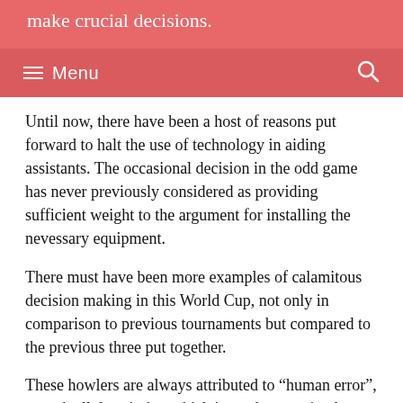make crucial decisions.
Menu
Until now, there have been a host of reasons put forward to halt the use of technology in aiding assistants. The occasional decision in the odd game has never previously considered as providing sufficient weight to the argument for installing the nevessary equipment.
There must have been more examples of calamitous decision making in this World Cup, not only in comparison to previous tournaments but compared to the previous three put together.
These howlers are always attributed to “human error”, a catch all description which is used conveniently as an umbrella term to describe failings in perception, judgement, low confidence